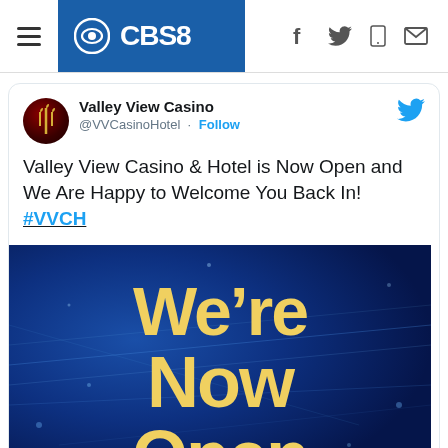CBS8
[Figure (screenshot): Tweet from Valley View Casino (@VVCasinoHotel) with Follow button and Twitter bird icon. Avatar shows Valley View Casino logo on dark red background.]
Valley View Casino & Hotel is Now Open and We Are Happy to Welcome You Back In! #VVCH
[Figure (photo): Blue sparkly banner with large gold text reading 'We're Now Open' (Open partially cropped at bottom)]